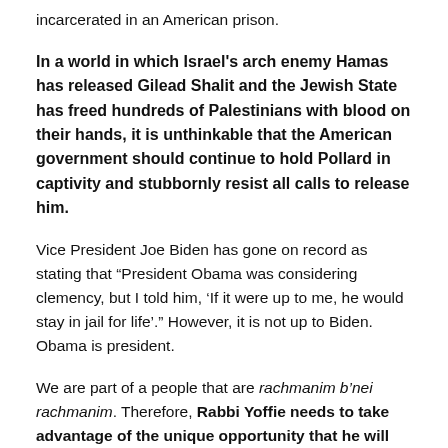incarcerated in an American prison.
In a world in which Israel's arch enemy Hamas has released Gilead Shalit and the Jewish State has freed hundreds of Palestinians with blood on their hands, it is unthinkable that the American government should continue to hold Pollard in captivity and stubbornly resist all calls to release him.
Vice President Joe Biden has gone on record as stating that “President Obama was considering clemency, but I told him, ‘If it were up to me, he would stay in jail for life’.” However, it is not up to Biden. Obama is president.
We are part of a people that are rachmanim b’nei rachmanim. Therefore, Rabbi Yoffie needs to take advantage of the unique opportunity that he will have at the URJ Biennial to tell the President of the United